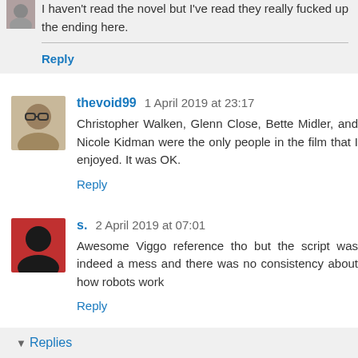I haven't read the novel but I've read they really fucked up the ending here.
Reply
thevoid99  1 April 2019 at 23:17
Christopher Walken, Glenn Close, Bette Midler, and Nicole Kidman were the only people in the film that I enjoyed. It was OK.
Reply
s.  2 April 2019 at 07:01
Awesome Viggo reference tho but the script was indeed a mess and there was no consistency about how robots work
Reply
▼ Replies